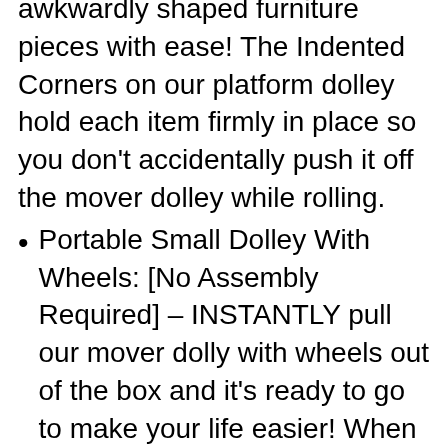awkwardly shaped furniture pieces with ease! The Indented Corners on our platform dolley hold each item firmly in place so you don't accidentally push it off the mover dolley while rolling.
Portable Small Dolley With Wheels: [No Assembly Required] – INSTANTLY pull our mover dolly with wheels out of the box and it's ready to go to make your life easier! When you're done for the day, just carry the flat dolly with its BUILT IN handle and pack it away for future use.
Perfect Weight Distribution [Protects Your Floors] – Whether you're wheeling furniture over hard wood, carpet or concrete, our platform dolly evenly